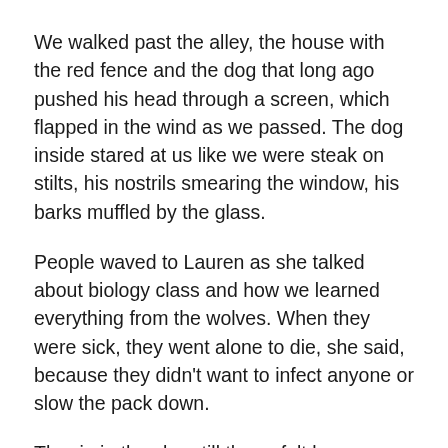We walked past the alley, the house with the red fence and the dog that long ago pushed his head through a screen, which flapped in the wind as we passed. The dog inside stared at us like we were steak on stilts, his nostrils smearing the window, his barks muffled by the glass.
People waved to Lauren as she talked about biology class and how we learned everything from the wolves. When they were sick, they went alone to die, she said, because they didn't want to infect anyone or slow the pack down.
The rip in the sky, still there, felt less scary. "I like the writing classes, and literature. I just read A Catcher in the Rye."
"Well, I guess off—" she ——